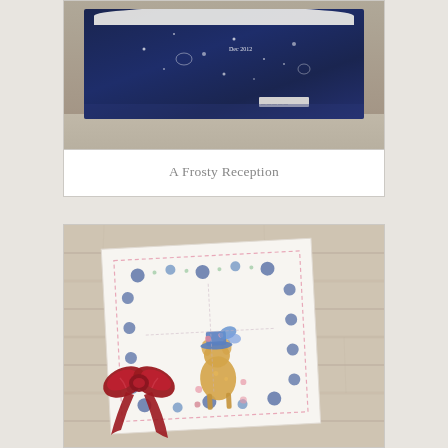[Figure (photo): Photo of a needlework/embroidery piece on dark navy blue fabric with white star and moon patterns, with lace detail at top. Label reads 'Dec 2012'. Displayed on a light surface.]
A Frosty Reception
[Figure (photo): Photo of a white embroidered piece displayed on a weathered wood surface. The embroidery features floral borders with blue circular motifs, and a central image of a small deer/fawn wearing a blue hat with a butterfly. A red velvet ribbon bow is tied at the left side of the piece.]